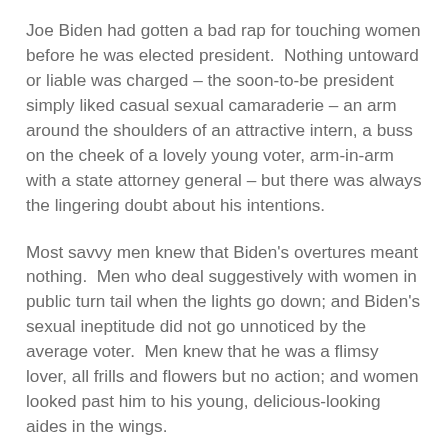Joe Biden had gotten a bad rap for touching women before he was elected president.  Nothing untoward or liable was charged – the soon-to-be president simply liked casual sexual camaraderie – an arm around the shoulders of an attractive intern, a buss on the cheek of a lovely young voter, arm-in-arm with a state attorney general – but there was always the lingering doubt about his intentions.
Most savvy men knew that Biden's overtures meant nothing.  Men who deal suggestively with women in public turn tail when the lights go down; and Biden's sexual ineptitude did not go unnoticed by the average voter.  Men knew that he was a flimsy lover, all frills and flowers but no action; and women looked past him to his young, delicious-looking aides in the wings.
Biden was happy to be in the White House. First and foremost, he could stop running for office which meant dropping all the hail-fellow-well-met regular guy glad handing.  He could sit comfortably in the Oval Office, surrounded by aides and advisors, work a decent day, and then retire to the Lincoln bedroom with a Louis Lamour